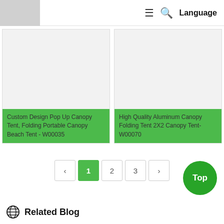≡ 🔍 Language
[Figure (photo): Product card image placeholder for Custom Design Pop Up Canopy Tent]
Custom Design Pop Up Canopy Tent, Folding Portable Canopy Beach Tent - W00035
[Figure (photo): Product card image placeholder for High Quality Aluminum Canopy Folding Tent]
High Quality Aluminum Canopy Folding Tent 2X2 Canopy Tent-W00070
‹ 1 2 3 ›
Top
⊕ Related Blog